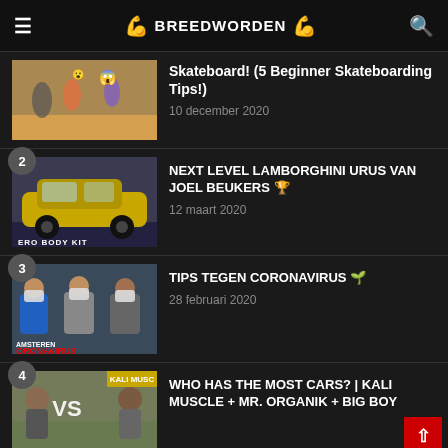BREEDWORDEN
Skateboard! (5 Beginner Skateboarding Tips!)
10 december 2020
NEXT LEVEL LAMBORGHINI URUS VAN JOEL BEUKERS 🏆
12 maart 2020
TIPS TEGEN CORONAVIRUS 🌿
28 februari 2020
WHO HAS THE MOST CARS? | Kali Muscle + Mr. Organik + Big Boy